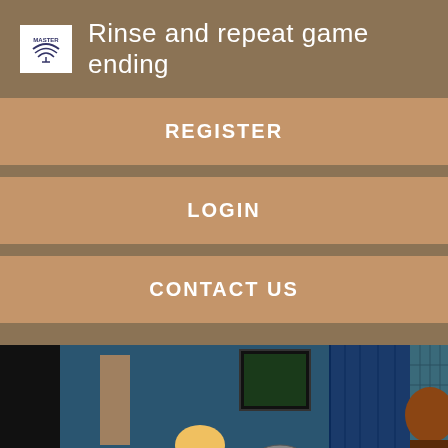Rinse and repeat game ending
REGISTER
LOGIN
CONTACT US
[Figure (screenshot): Animated cartoon scene showing a room with figures and large white text 'Register No' at the bottom]